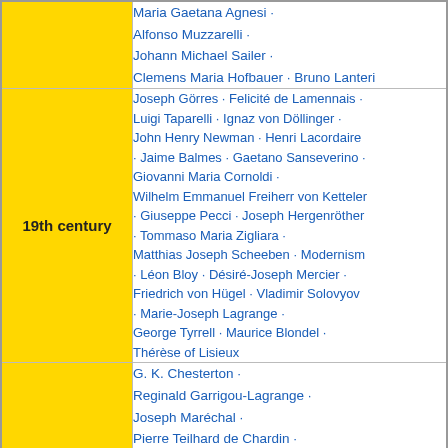| Century | Notable Figures |
| --- | --- |
|  | Maria Gaetana Agnesi · Alfonso Muzzarelli · Johann Michael Sailer · Clemens Maria Hofbauer · Bruno Lanteri |
| 19th century | Joseph Görres · Felicité de Lamennais · Luigi Taparelli · Ignaz von Döllinger · John Henry Newman · Henri Lacordaire · Jaime Balmes · Gaetano Sanseverino · Giovanni Maria Cornoldi · Wilhelm Emmanuel Freiherr von Ketteler · Giuseppe Pecci · Joseph Hergenröther · Tommaso Maria Zigliara · Matthias Joseph Scheeben · Modernism · Léon Bloy · Désiré-Joseph Mercier · Friedrich von Hügel · Vladimir Solovyov · Marie-Joseph Lagrange · George Tyrrell · Maurice Blondel · Thérèse of Lisieux |
|  | G. K. Chesterton · Reginald Garrigou-Lagrange · Joseph Maréchal · Pierre Teilhard de Chardin · Jacques Maritain · Étienne Gilson · Ronald Knox · Dietrich von Hildebrand · |